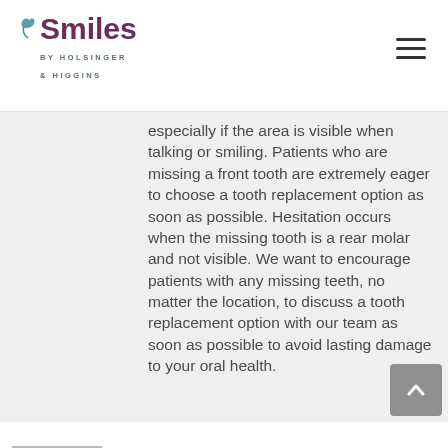Smiles by Holsinger & Higgins
especially if the area is visible when talking or smiling. Patients who are missing a front tooth are extremely eager to choose a tooth replacement option as soon as possible. Hesitation occurs when the missing tooth is a rear molar and not visible. We want to encourage patients with any missing teeth, no matter the location, to discuss a tooth replacement option with our team as soon as possible to avoid lasting damage to your oral health.